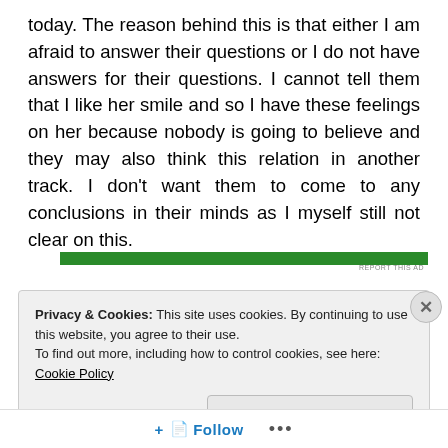today. The reason behind this is that either I am afraid to answer their questions or I do not have answers for their questions. I cannot tell them that I like her smile and so I have these feelings on her because nobody is going to believe and they may also think this relation in another track. I don't want them to come to any conclusions in their minds as I myself still not clear on this.
[Figure (other): Green advertisement banner bar with 'REPORT THIS AD' text]
Privacy & Cookies: This site uses cookies. By continuing to use this website, you agree to their use.
To find out more, including how to control cookies, see here: Cookie Policy
Close and accept
Follow